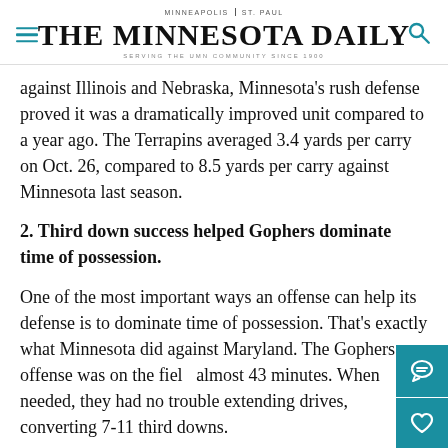MINNEAPOLIS | ST. PAUL — THE MINNESOTA DAILY — SERVING THE UMN COMMUNITY SINCE 1900
against Illinois and Nebraska, Minnesota's rush defense proved it was a dramatically improved unit compared to a year ago. The Terrapins averaged 3.4 yards per carry on Oct. 26, compared to 8.5 yards per carry against Minnesota last season.
2. Third down success helped Gophers dominate time of possession.
One of the most important ways an offense can help its defense is to dominate time of possession. That's exactly what Minnesota did against Maryland. The Gophers offense was on the field almost 43 minutes. When needed, they had no trouble extending drives, converting 7-11 third downs.